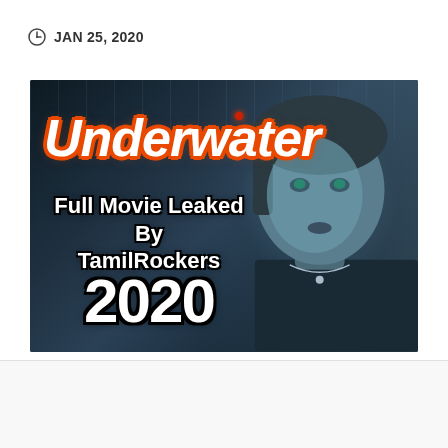JAN 25, 2020
[Figure (photo): Movie thumbnail for 'Underwater' showing a dark scene with a woman's face and overlay text: 'Underwater Full Movie Leaked By TamilRockers 2020']